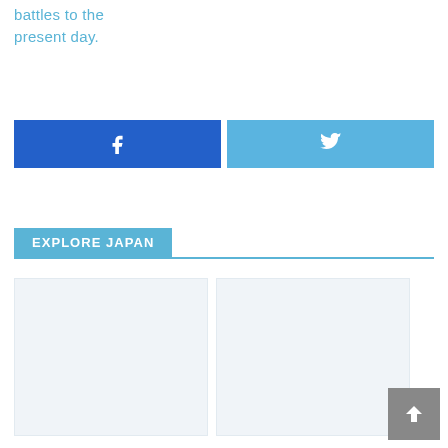battles to the present day.
[Figure (other): Facebook share button (blue) and Twitter share button (light blue) side by side]
EXPLORE JAPAN
[Figure (other): Two image placeholder boxes in a grid layout below the Explore Japan header]
[Figure (other): Back to top button (grey arrow) in bottom right corner]